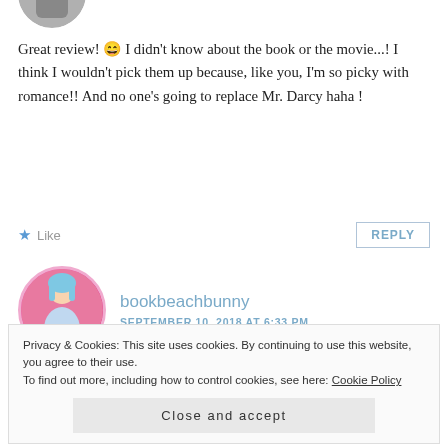[Figure (photo): Partial circular avatar photo at top, showing cropped profile picture]
Great review! 😄 I didn't know about the book or the movie...! I think I wouldn't pick them up because, like you, I'm so picky with romance!! And no one's going to replace Mr. Darcy haha !
★ Like    REPLY
[Figure (photo): Circular avatar of bookbeachbunny — woman in pink/blue Barbie-style setting]
bookbeachbunny
SEPTEMBER 10, 2018 AT 6:33 PM
Privacy & Cookies: This site uses cookies. By continuing to use this website, you agree to their use.
To find out more, including how to control cookies, see here: Cookie Policy

Close and accept